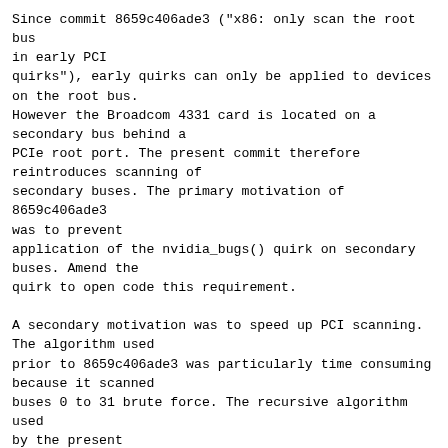Since commit 8659c406ade3 ("x86: only scan the root bus in early PCI
quirks"), early quirks can only be applied to devices on the root bus.
However the Broadcom 4331 card is located on a secondary bus behind a
PCIe root port. The present commit therefore reintroduces scanning of
secondary buses. The primary motivation of 8659c406ade3 was to prevent
application of the nvidia_bugs() quirk on secondary buses. Amend the
quirk to open code this requirement.

A secondary motivation was to speed up PCI scanning. The algorithm used
prior to 8659c406ade3 was particularly time consuming because it scanned
buses 0 to 31 brute force. The recursive algorithm used by the present
commit only scans buses that are actually reachable from the root bus
and should thus be a bit faster. If this algorithm is found to
significantly impact boot time, it would be possible to limit its
recursion depth: The Apple AirPort quirk applies at depth 1, all others
at depth 0, so the bus need not be scanned deeper than that for now. An